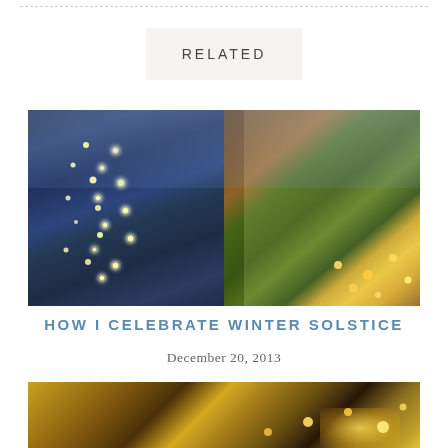RELATED
[Figure (photo): Winter night scene with snow-covered trees decorated with Christmas lights on the left side, and pine branches with warm golden lights and a ornament on the right side]
HOW I CELEBRATE WINTER SOLSTICE
December 20, 2013
[Figure (photo): Close-up of warm golden Christmas lights on pine branches, partial view at bottom of page]